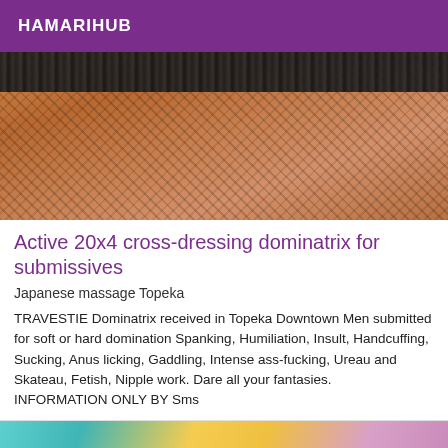HAMARIHUB
[Figure (photo): Close-up photo of legs wearing fishnet stockings with a black lace band/garter at the top, warm orange-toned skin, reclining pose on a light surface.]
Active 20x4 cross-dressing dominatrix for submissives
Japanese massage Topeka
TRAVESTIE Dominatrix received in Topeka Downtown Men submitted for soft or hard domination Spanking, Humiliation, Insult, Handcuffing, Sucking, Anus licking, Gaddling, Intense ass-fucking, Ureau and Skateau, Fetish, Nipple work. Dare all your fantasies. INFORMATION ONLY BY Sms
[Figure (photo): Partial cropped photo showing legs and colorful fabric/clothing items in turquoise, yellow and pink tones.]